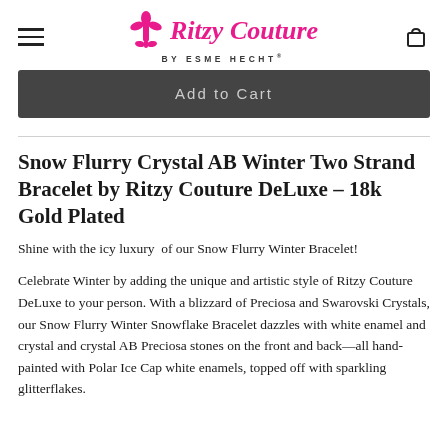Ritzy Couture BY ESME HECHT
Add to Cart
Snow Flurry Crystal AB Winter Two Strand Bracelet by Ritzy Couture DeLuxe – 18k Gold Plated
Shine with the icy luxury  of our Snow Flurry Winter Bracelet!
Celebrate Winter by adding the unique and artistic style of Ritzy Couture DeLuxe to your person. With a blizzard of Preciosa and Swarovski Crystals, our Snow Flurry Winter Snowflake Bracelet dazzles with white enamel and crystal and crystal AB Preciosa stones on the front and back—all hand-painted with Polar Ice Cap white enamels, topped off with sparkling glitterflakes.